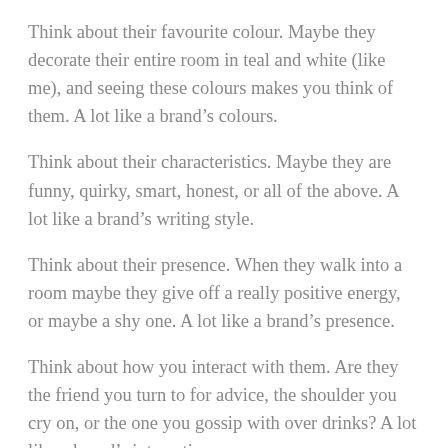Think about their favourite colour. Maybe they decorate their entire room in teal and white (like me), and seeing these colours makes you think of them. A lot like a brand’s colours.
Think about their characteristics. Maybe they are funny, quirky, smart, honest, or all of the above. A lot like a brand’s writing style.
Think about their presence. When they walk into a room maybe they give off a really positive energy, or maybe a shy one. A lot like a brand’s presence.
Think about how you interact with them. Are they the friend you turn to for advice, the shoulder you cry on, or the one you gossip with over drinks? A lot like a brand’s interaction.
Think about how available they are. If you text them will they answer right away, or do you formally email them and wait days for a reply? A lot like a brand’s